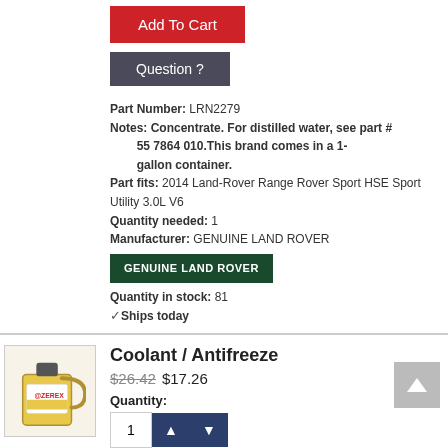Add To Cart
Question ?
Part Number: LRN2279
Notes: Concentrate. For distilled water, see part # 55 7864 010.This brand comes in a 1-gallon container.
Part fits: 2014 Land-Rover Range Rover Sport HSE Sport Utility 3.0L V6
Quantity needed: 1
Manufacturer: GENUINE LAND ROVER
[Figure (logo): GENUINE LAND ROVER dark green badge]
Quantity in stock: 81
✓Ships today
[Figure (photo): Zerex coolant antifreeze 1-gallon yellow container]
Coolant / Antifreeze
$26.42 $17.26
Quantity:
Add To Cart